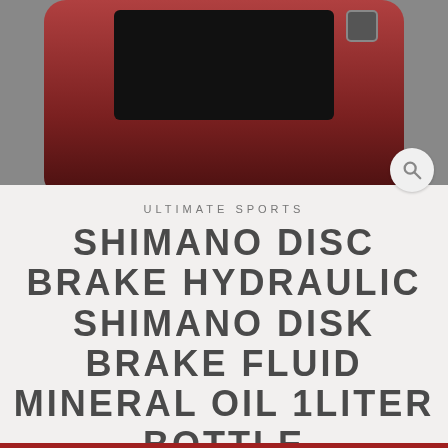[Figure (photo): Product photo of a Shimano disc brake fluid mineral oil bottle, shown as a dark red/maroon device with a screen, on a gray background. A search magnifying glass icon appears in the top-right corner.]
ULTIMATE SPORTS
SHIMANO DISC BRAKE HYDRAULIC SHIMANO DISK BRAKE FLUID MINERAL OIL 1LITER BOTTLE
$29.99